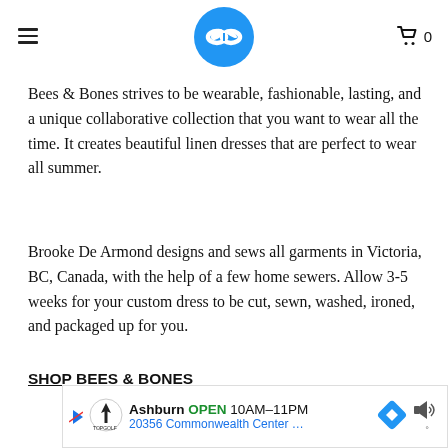≡  [logo]  🛒 0
Bees & Bones strives to be wearable, fashionable, lasting, and a unique collaborative collection that you want to wear all the time. It creates beautiful linen dresses that are perfect to wear all summer.
Brooke De Armond designs and sews all garments in Victoria, BC, Canada, with the help of a few home sewers. Allow 3-5 weeks for your custom dress to be cut, sewn, washed, ironed, and packaged up for you.
SHOP BEES & BONES
[Figure (other): Advertisement banner for TopGolf Ashburn showing OPEN 10AM–11PM and address 20356 Commonwealth Center...]